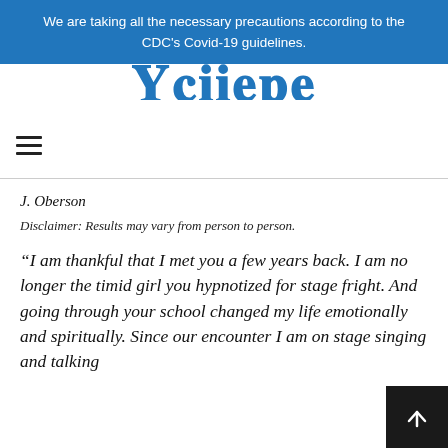We are taking all the necessary precautions according to the CDC's Covid-19 guidelines.
[Figure (logo): Partial blue stylized logo/wordmark text for a hypnotherapy or wellness practice]
[Figure (other): Hamburger navigation menu icon (three horizontal lines)]
J. Oberson
Disclaimer: Results may vary from person to person.
“I am thankful that I met you a few years back. I am no longer the timid girl you hypnotized for stage fright. And going through your school changed my life emotionally and spiritually. Since our encounter I am on stage singing and talking